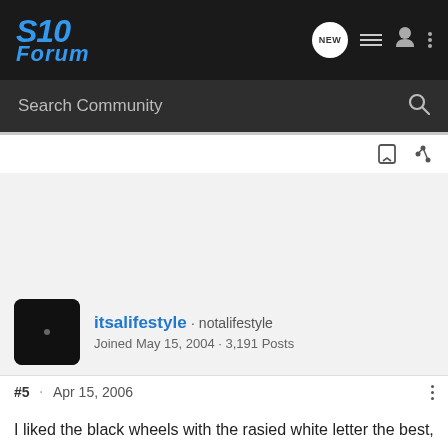S10 Forum
Search Community
itsalifestyle · notalifestyle
Joined May 15, 2004 · 3,191 Posts
#5 · Apr 15, 2006
I liked the black wheels with the rasied white letter the best, it looks good with the polished lip tho. But didnt you have chrome 18"s or something?